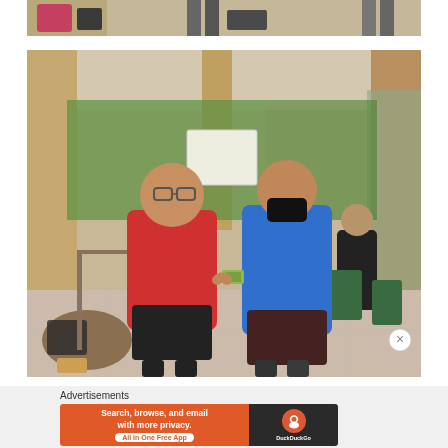[Figure (photo): Cropped top portion of a photo showing bags and people's legs on a tiled floor]
[Figure (photo): Two men shaking hands under a covered outdoor patio area. The man on the left wears a red polo shirt and glasses, the man on the right wears a blue polo shirt and a black face mask and holds cash. Other people are seated at tables in the background.]
Advertisements
[Figure (other): DuckDuckGo advertisement banner: 'Search, browse, and email with more privacy. All in One Free App' with DuckDuckGo logo on dark background]